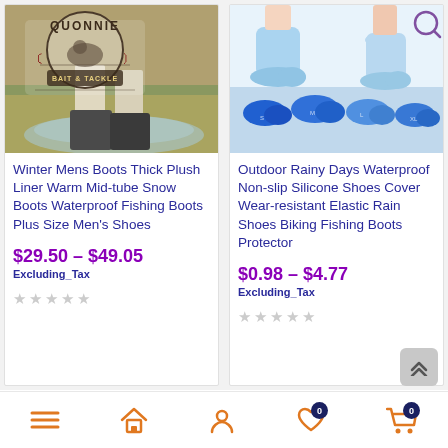[Figure (photo): Left product image: Person wading in water wearing fishing boots with Quonnie Bait & Tackle logo overlay]
Winter Mens Boots Thick Plush Liner Warm Mid-tube Snow Boots Waterproof Fishing Boots Plus Size Men's Shoes
$29.50 – $49.05
Excluding_Tax
[Figure (photo): Right product image: Blue silicone waterproof shoe covers displayed on feet and laid flat, showing different views]
Outdoor Rainy Days Waterproof Non-slip Silicone Shoes Cover Wear-resistant Elastic Rain Shoes Biking Fishing Boots Protector
$0.98 – $4.77
Excluding_Tax
Navigation bar: menu, home, account, wishlist (0), cart (0)